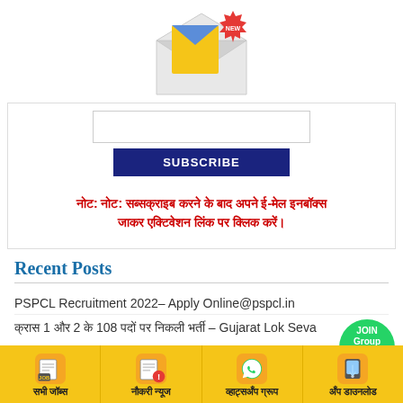[Figure (illustration): Email envelope icon with a yellow letter inside and a red 'NEW' badge starburst in the top right corner]
[Figure (screenshot): Email input text box (empty) for newsletter subscription]
[Figure (other): Dark navy blue SUBSCRIBE button]
नोट: नोट: सब्सक्राइब करने के बाद अपने ई-मेल इनबॉक्स जाकर एक्टिवेशन लिंक पर क्लिक करें।
Recent Posts
PSPCL Recruitment 2022– Apply Online@pspcl.in
क्रास 1 और 2 के 108 पदों पर निकली भर्ती – Gujarat Lok Seva